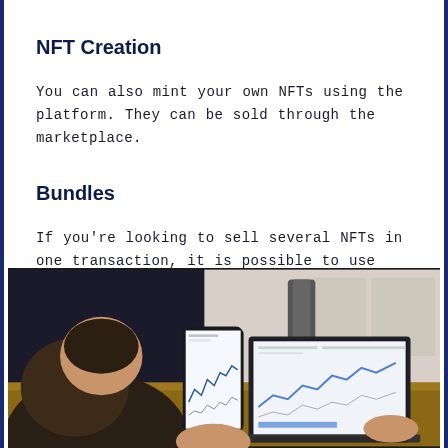NFT Creation
You can also mint your own NFTs using the platform. They can be sold through the marketplace.
Bundles
If you're looking to sell several NFTs in one transaction, it is possible to use OpenSea's bundle features. 30 items are available as part of the bundle.
[Figure (photo): Person holding a smartphone with trading charts, sitting in front of a laptop also showing trading charts on a wooden desk]